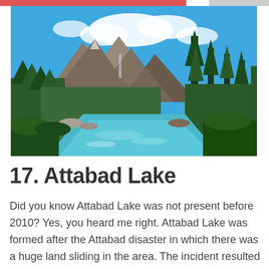[Figure (photo): Scenic mountain landscape with a turquoise river flowing through lush green pine forests, rocky mountain peaks in the background, and a blue sky with white clouds.]
17. Attabad Lake
Did you know Attabad Lake was not present before 2010? Yes, you heard me right. Attabad Lake was formed after the Attabad disaster in which there was a huge land sliding in the area. The incident resulted in losses but today, the